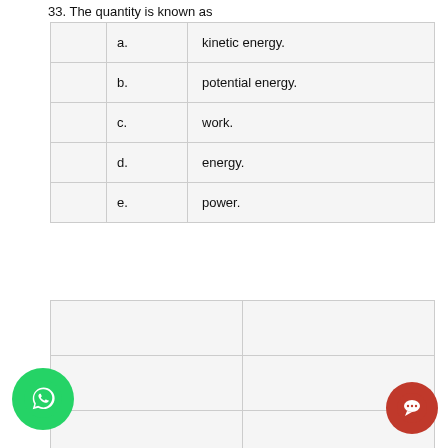33. The quantity is known as
|  | a. | kinetic energy. |
|  | b. | potential energy. |
|  | c. | work. |
|  | d. | energy. |
|  | e. | power. |
|  |  |
|  |  |
|  |  |